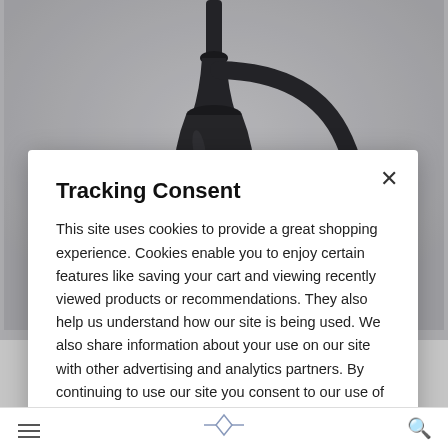[Figure (photo): Background product photo of a dark bronze/black wall-mounted outdoor lantern light fixture, showing the lamp arm, mount plate, and upper portion of the fixture against a light gray background.]
Tracking Consent
This site uses cookies to provide a great shopping experience. Cookies enable you to enjoy certain features like saving your cart and viewing recently viewed products or recommendations. They also help us understand how our site is being used. We also share information about your use on our site with other advertising and analytics partners. By continuing to use our site you consent to our use of cookies. See our Privacy Policy for details.
Continue